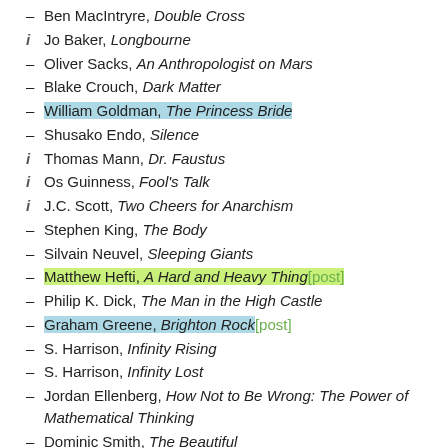– Ben MacIntryre, Double Cross
i Jo Baker, Longbourne
– Oliver Sacks, An Anthropologist on Mars
– Blake Crouch, Dark Matter
– William Goldman, The Princess Bride
– Shusako Endo, Silence
i Thomas Mann, Dr. Faustus
i Os Guinness, Fool's Talk
i J.C. Scott, Two Cheers for Anarchism
– Stephen King, The Body
– Silvain Neuvel, Sleeping Giants
– Matthew Hefti, A Hard and Heavy Thing [post]
– Philip K. Dick, The Man in the High Castle
– Graham Greene, Brighton Rock [post]
– S. Harrison, Infinity Rising
– S. Harrison, Infinity Lost
– Jordan Ellenberg, How Not to Be Wrong: The Power of Mathematical Thinking
– Dominic Smith, The Beautiful...